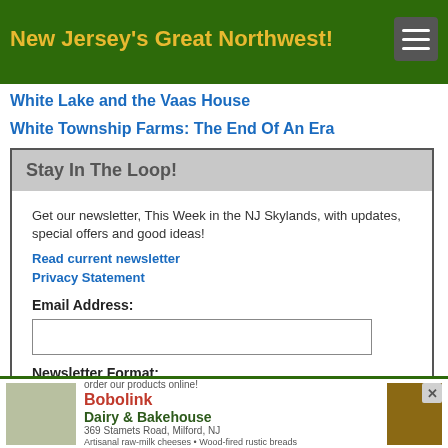New Jersey's Great Northwest!
White Lake and the Vaas House
White Township Farms: The End Of An Era
Stay In The Loop!
Get our newsletter, This Week in the NJ Skylands, with updates, special offers and good ideas!
Read current newsletter
Privacy Statement
Email Address:
Newsletter Format:
html
[Figure (other): Advertisement for Bobolink Dairy & Bakehouse - 369 Stamets Road, Milford, NJ. Visit our shop and bakery or order our products online! Artisanal raw-milk cheeses, Wood-fired rustic breads, Pasture raised meats, Farm tours & events.]